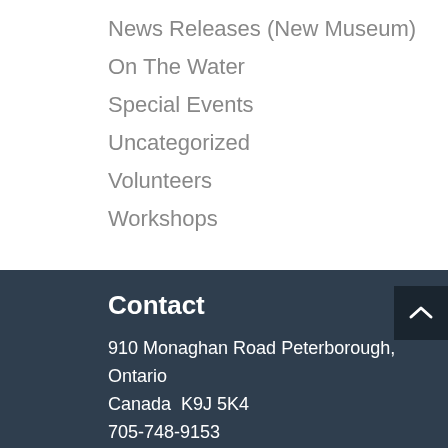News Releases (New Museum)
On The Water
Special Events
Uncategorized
Volunteers
Workshops
Contact
910 Monaghan Road Peterborough, Ontario Canada  K9J 5K4
705-748-9153